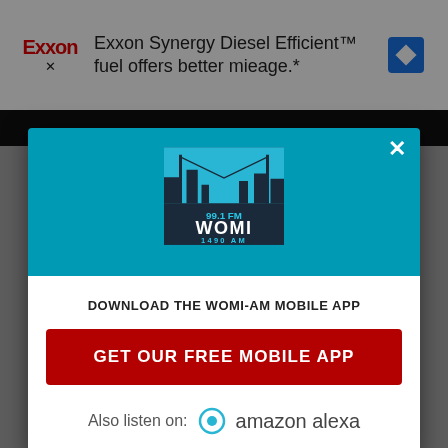[Figure (screenshot): Exxon Synergy Diesel Efficient advertisement banner at top of webpage]
[Figure (logo): 99.1 FM WOMI 1490 AM radio station logo on teal background in modal popup]
DOWNLOAD THE WOMI-AM MOBILE APP
GET OUR FREE MOBILE APP
Also listen on:  amazon alexa
Some Days I Amaze